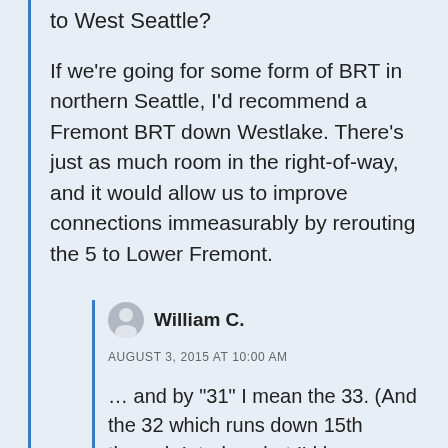to West Seattle?
If we're going for some form of BRT in northern Seattle, I'd recommend a Fremont BRT down Westlake. There's just as much room in the right-of-way, and it would allow us to improve connections immeasurably by rerouting the 5 to Lower Fremont.
William C.
AUGUST 3, 2015 AT 10:00 AM
… and by "31" I mean the 33. (And the 32 which runs down 15th through Interbay, but I'd be surprised if that part